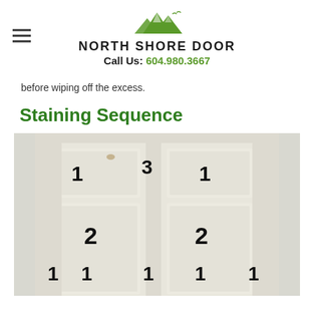North Shore Door — Call Us: 604.980.3667
before wiping off the excess.
Staining Sequence
[Figure (photo): A white paneled door with numbered sections indicating the staining sequence. Numbers 1, 2, 3 are labeled on various parts of the door panels and stiles.]